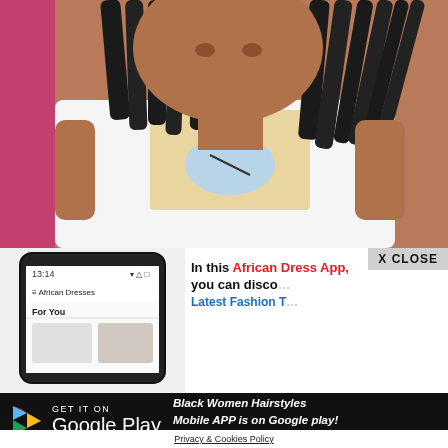[Figure (photo): Close-up photo of a young Black woman with long box braids wearing a white graphic t-shirt showing a skateboarder. Pink/magenta background visible.]
[Figure (screenshot): Smartphone showing African Dresses app with 'For You' section visible.]
In this African Dress App, you can disco... Latest Fashion T...
X CLOSE
GET IT ON Google Play
Black Women Hairstyles Mobile APP is on Google play! Download now and rate it!
Privacy & Cookies Policy